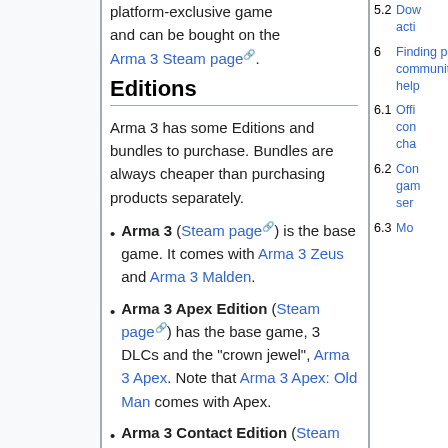platform-exclusive game and can be bought on the Arma 3 Steam page.
5.2  Downloading actions (truncated)
6  Finding players community help (truncated)
6.1  Official community channels (truncated)
6.2  Community game servers (truncated)
6.3  More (truncated)
Editions
Arma 3 has some Editions and bundles to purchase. Bundles are always cheaper than purchasing products separately.
Arma 3 (Steam page) is the base game. It comes with Arma 3 Zeus and Arma 3 Malden.
Arma 3 Apex Edition (Steam page) has the base game, 3 DLCs and the "crown jewel", Arma 3 Apex. Note that Arma 3 Apex: Old Man comes with Apex.
Arma 3 Contact Edition (Steam